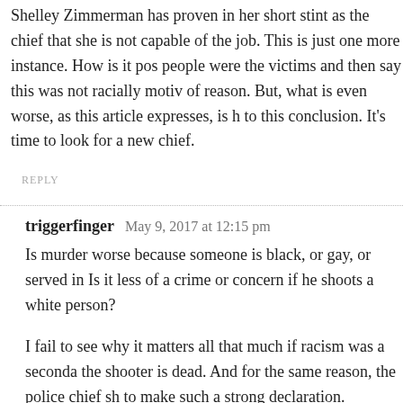Shelley Zimmerman has proven in her short stint as the chief that she is not capable of the job. This is just one more instance. How is it possible that black people were the victims and then say this was not racially motivated? It defies any of reason. But, what is even worse, as this article expresses, is how she arrived to this conclusion. It's time to look for a new chief.
REPLY
triggerfinger   May 9, 2017 at 12:15 pm
Is murder worse because someone is black, or gay, or served in the military? Is it less of a crime or concern if he shoots a white person?
I fail to see why it matters all that much if racism was a secondary motive — the shooter is dead. And for the same reason, the police chief shouldn't feel free to make such a strong declaration.
REPLY